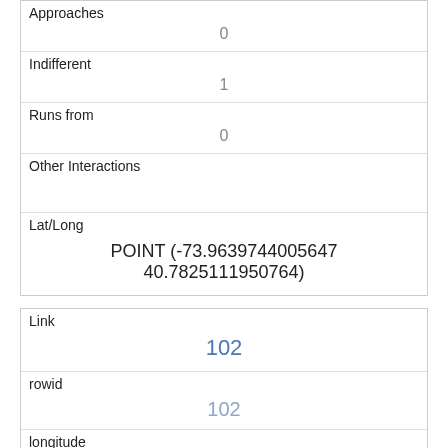| Approaches | 0 |
| Indifferent | 1 |
| Runs from | 0 |
| Other Interactions |  |
| Lat/Long | POINT (-73.9639744005647 40.7825111950764) |
| Link | 102 |
| rowid | 102 |
| longitude | -73.95759861613641 |
| latitude | 40.799368134968 |
| Unique Squirrel ID | 11B-PM-1014-01 |